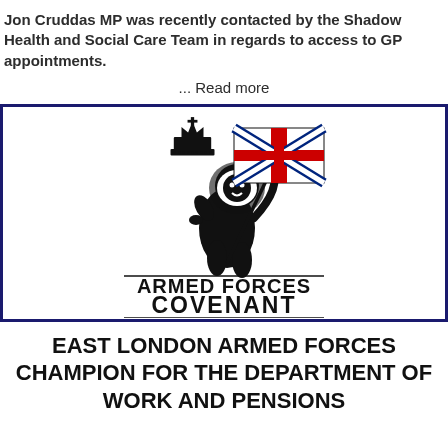Jon Cruddas MP was recently contacted by the Shadow Health and Social Care Team in regards to access to GP appointments.
... Read more
[Figure (logo): Armed Forces Covenant logo: a heraldic lion rampant holding a Union Jack flag on a pole, with a crown above, and the text 'ARMED FORCES COVENANT' below]
EAST LONDON ARMED FORCES CHAMPION FOR THE DEPARTMENT OF WORK AND PENSIONS